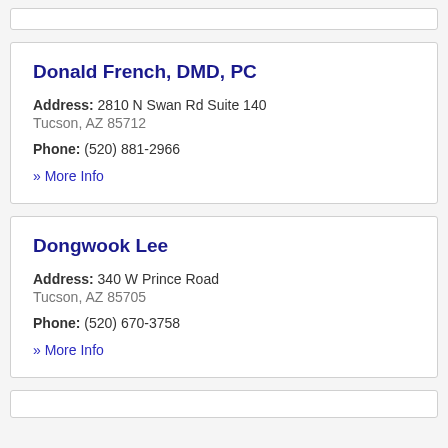Donald French, DMD, PC
Address: 2810 N Swan Rd Suite 140
Tucson, AZ 85712
Phone: (520) 881-2966
» More Info
Dongwook Lee
Address: 340 W Prince Road
Tucson, AZ 85705
Phone: (520) 670-3758
» More Info